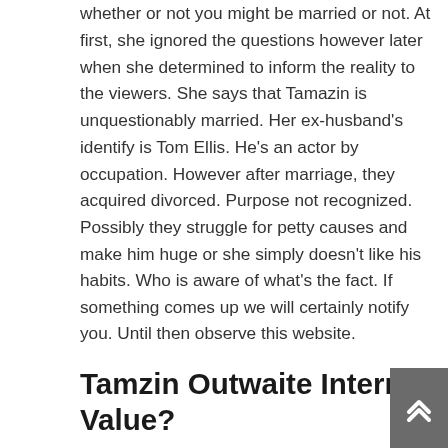whether or not you might be married or not. At first, she ignored the questions however later when she determined to inform the reality to the viewers. She says that Tamazin is unquestionably married. Her ex-husband's identify is Tom Ellis. He's an actor by occupation. However after marriage, they acquired divorced. Purpose not recognized. Possibly they struggle for petty causes and make him huge or she simply doesn't like his habits. Who is aware of what's the fact. If something comes up we will certainly notify you. Until then observe this website.
Tamzin Outwaite Internet Value?
In accordance with sources, Tamzin's web price is about $8 million which was insane. From this quantity, she would survive the remainder of her life